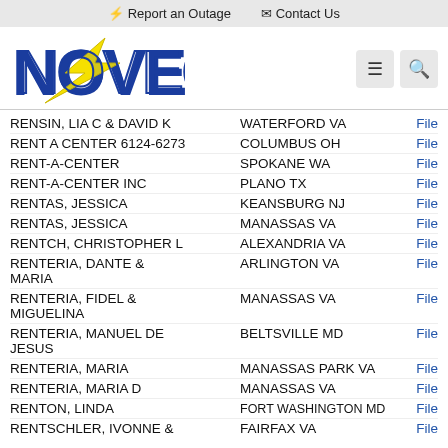⚡ Report an Outage   ✉ Contact Us
[Figure (logo): NOVEC logo — bold blue stylized letters with yellow lightning bolt diagonal stripe]
| Name | City/State |  |
| --- | --- | --- |
| RENSIN, LIA C & DAVID K | WATERFORD VA | File |
| RENT A CENTER 6124-6273 | COLUMBUS OH | File |
| RENT-A-CENTER | SPOKANE WA | File |
| RENT-A-CENTER INC | PLANO TX | File |
| RENTAS, JESSICA | KEANSBURG NJ | File |
| RENTAS, JESSICA | MANASSAS VA | File |
| RENTCH, CHRISTOPHER L | ALEXANDRIA VA | File |
| RENTERIA, DANTE & MARIA | ARLINGTON VA | File |
| RENTERIA, FIDEL & MIGUELINA | MANASSAS VA | File |
| RENTERIA, MANUEL DE JESUS | BELTSVILLE MD | File |
| RENTERIA, MARIA | MANASSAS PARK VA | File |
| RENTERIA, MARIA D | MANASSAS VA | File |
| RENTON, LINDA | FORT WASHINGTON MD | File |
| RENTSCHLER, IVONNE & | FAIRFAX VA | File |